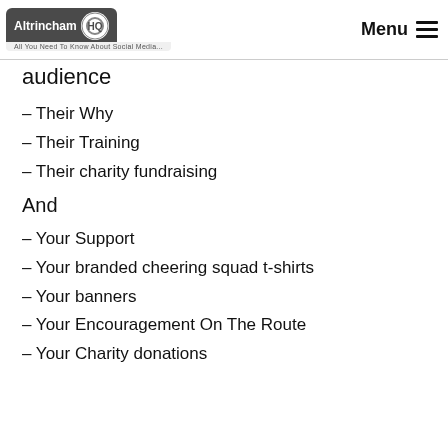Altrincham HQ — All You Need To Know About Social Media... | Menu
audience
– Their Why
– Their Training
– Their charity fundraising
And
– Your Support
– Your branded cheering squad t-shirts
– Your banners
– Your Encouragement On The Route
– Your Charity donations